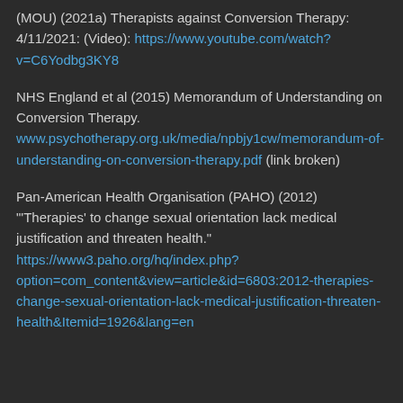(MOU) (2021a) Therapists against Conversion Therapy: 4/11/2021: (Video): https://www.youtube.com/watch?v=C6Yodbg3KY8
NHS England et al (2015) Memorandum of Understanding on Conversion Therapy. www.psychotherapy.org.uk/media/npbjy1cw/memorandum-of-understanding-on-conversion-therapy.pdf (link broken)
Pan-American Health Organisation (PAHO) (2012) "'Therapies' to change sexual orientation lack medical justification and threaten health." https://www3.paho.org/hq/index.php?option=com_content&view=article&id=6803:2012-therapies-change-sexual-orientation-lack-medical-justification-threaten-health&Itemid=1926&lang=en